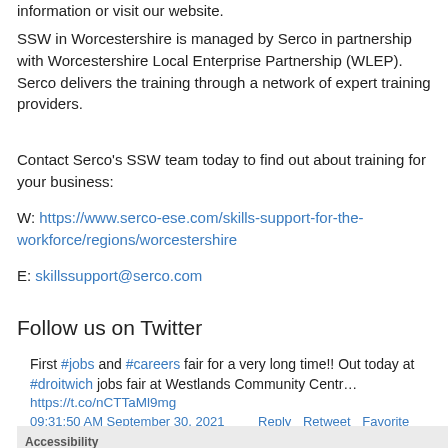information or visit our website.
SSW in Worcestershire is managed by Serco in partnership with Worcestershire Local Enterprise Partnership (WLEP). Serco delivers the training through a network of expert training providers.
Contact Serco's SSW team today to find out about training for your business:
W: https://www.serco-ese.com/skills-support-for-the-workforce/regions/worcestershire
E: skillssupport@serco.com
Follow us on Twitter
First #jobs and #careers fair for a very long time!! Out today at #droitwich jobs fair at Westlands Community Centr… https://t.co/nCTTaMl9mg 09:31:50 AM September 30, 2021 Reply Retweet Favorite
RT @Wychavon: Don't miss the job fair at Westlands